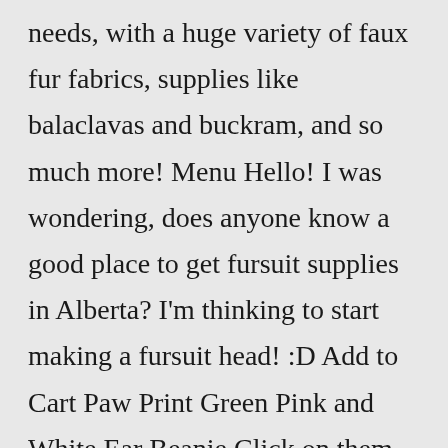needs, with a huge variety of faux fur fabrics, supplies like balaclavas and buckram, and so much more! Menu Hello! I was wondering, does anyone know a good place to get fursuit supplies in Alberta? I'm thinking to start making a fursuit head! :D Add to Cart Paw Print Green Pink and White Ear Beanie Click on them to see the gallery Custom Handmade Fursuit Tail Creating the base mould of your head 99 Favorite & More $775 Sho...